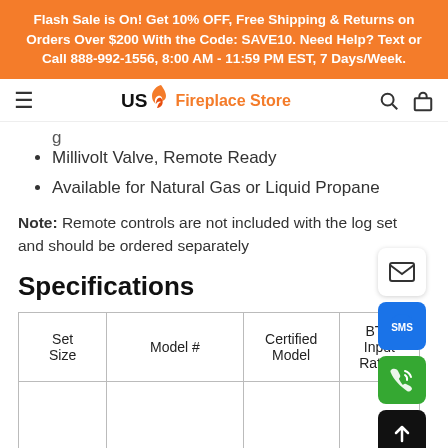Flash Sale is On! Get 10% OFF, Free Shipping & Returns on Orders Over $200 With the Code: SAVE10. Need Help? Text or Call 888-992-1556, 8:00 AM - 11:59 PM EST, 7 Days/Week.
US Fireplace Store
Millivolt Valve, Remote Ready
Available for Natural Gas or Liquid Propane
Note: Remote controls are not included with the log set and should be ordered separately
Specifications
| Set Size | Model # | Certified Model | BTU Input Rating |
| --- | --- | --- | --- |
|  |  |  |  |